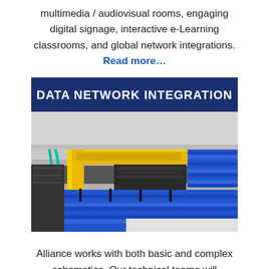multimedia / audiovisual rooms, engaging digital signage, interactive e-Learning classrooms, and global network integrations. Read more…
[Figure (photo): Data network integration - photo of a data center cable management system showing dense blue network cables routed through yellow cable trays and black rack equipment, with teal fiber optic cables visible]
Alliance works with both basic and complex schematics. Our technical teams will collaborate